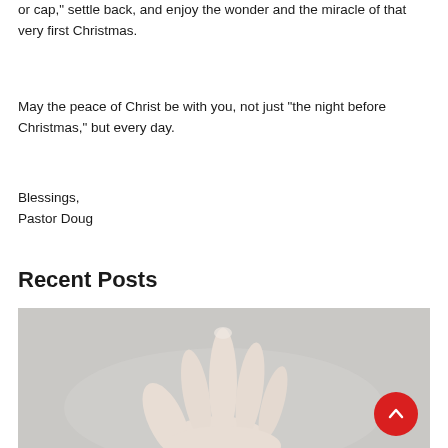or cap," settle back, and enjoy the wonder and the miracle of that very first Christmas.
May the peace of Christ be with you, not just "the night before Christmas," but every day.
Blessings,
Pastor Doug
Recent Posts
[Figure (photo): A close-up photograph of a baby's hand with fingers slightly open, against a light grey background.]